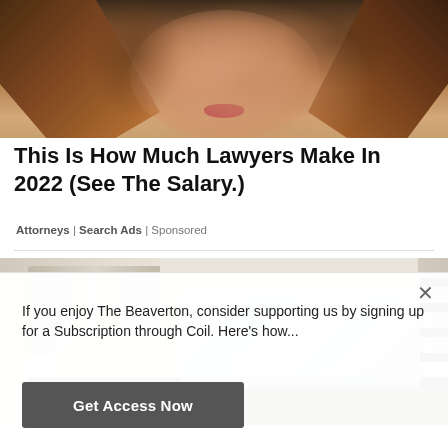[Figure (photo): Cropped photo of a woman with auburn/red hair, showing the lower half of her face with visible lips against a dark green background]
This Is How Much Lawyers Make In 2022 (See The Salary.)
Attorneys | Search Ads | Sponsored
[Figure (photo): Photo of a modern bed frame with white/neutral bedding, pillows, and a light blue-grey blanket, with striped fabric visible on the right side]
If you enjoy The Beaverton, consider supporting us by signing up for a Subscription through Coil. Here's how...
Get Access Now